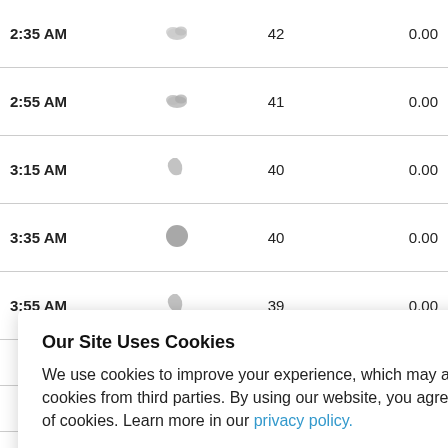| Time | Icon | Temp | Precip |
| --- | --- | --- | --- |
| 2:35 AM |  | 42 | 0.00 |
| 2:55 AM |  | 41 | 0.00 |
| 3:15 AM |  | 40 | 0.00 |
| 3:35 AM |  | 40 | 0.00 |
| 3:55 AM |  | 39 | 0.00 |
|  |  |  | 0.00 |
|  |  |  | 0.00 |
|  |  |  | 0.00 |
|  |  |  | 0.00 |
Our Site Uses Cookies
We use cookies to improve your experience, which may also include cookies from third parties. By using our website, you agree to the use of cookies. Learn more in our privacy policy.